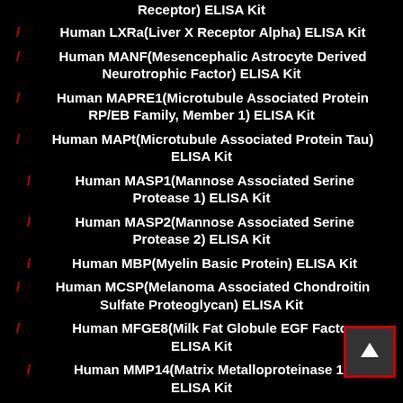Receptor) ELISA Kit
/ Human LXRa(Liver X Receptor Alpha) ELISA Kit
/ Human MANF(Mesencephalic Astrocyte Derived Neurotrophic Factor) ELISA Kit
/ Human MAPRE1(Microtubule Associated Protein RP/EB Family, Member 1) ELISA Kit
/ Human MAPt(Microtubule Associated Protein Tau) ELISA Kit
/ Human MASP1(Mannose Associated Serine Protease 1) ELISA Kit
/ Human MASP2(Mannose Associated Serine Protease 2) ELISA Kit
/ Human MBP(Myelin Basic Protein) ELISA Kit
/ Human MCSP(Melanoma Associated Chondroitin Sulfate Proteoglycan) ELISA Kit
/ Human MFGE8(Milk Fat Globule EGF Factor) ELISA Kit
/ Human MMP14(Matrix Metalloproteinase 14) ELISA Kit